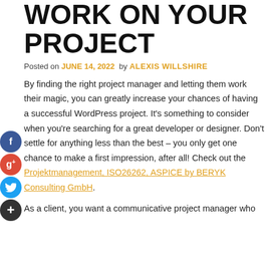WORK ON YOUR PROJECT
Posted on JUNE 14, 2022 by ALEXIS WILLSHIRE
By finding the right project manager and letting them work their magic, you can greatly increase your chances of having a successful WordPress project. It's something to consider when you're searching for a great developer or designer. Don't settle for anything less than the best – you only get one chance to make a first impression, after all! Check out the Projektmanagement, ISO26262, ASPICE by BERYK Consulting GmbH.
As a client, you want a communicative project manager who